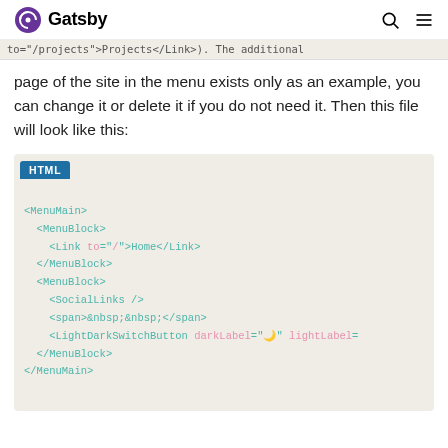Gatsby
to /projects >Projects</Link>). The additional page of the site in the menu exists only as an example, you can change it or delete it if you do not need it. Then this file will look like this:
[Figure (screenshot): HTML code block showing MenuMain component with MenuBlock children containing Link, SocialLinks, span with nbsp entities, and LightDarkSwitchButton with darkLabel attribute]
HTML